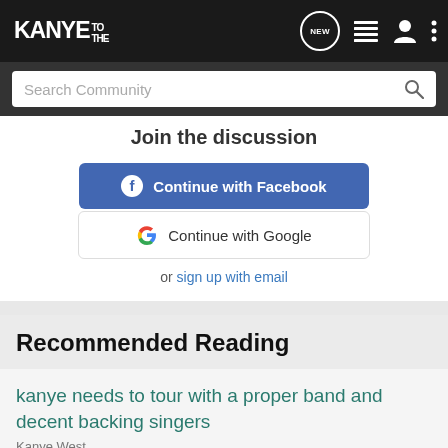KANYE TO THE — navigation bar with search
Join the discussion
[Figure (screenshot): Continue with Facebook button (blue rounded rectangle with Facebook logo)]
[Figure (screenshot): Continue with Google button (white rounded rectangle with Google logo)]
or sign up with email
Recommended Reading
kanye needs to tour with a proper band and decent backing singers
Kanye West